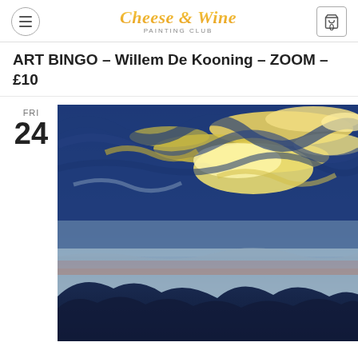Cheese & Wine Painting Club — navigation header with menu button, logo, and cart (0)
ART BINGO – Willem De Kooning – ZOOM – £10
FRI 24
[Figure (illustration): Impressionist oil painting of a dramatic sunset sky with swirling blue and golden-yellow clouds over a dark mountain silhouette and water, in the style of Willem De Kooning.]